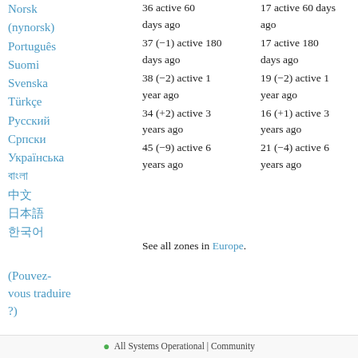Norsk (nynorsk)
Português
Suomi
Svenska
Türkçe
Русский
Српски
Українська
বাংলা
中文
日本語
한국어
36 active 60 days ago
37 (-1) active 180 days ago
38 (-2) active 1 year ago
34 (+2) active 3 years ago
45 (-9) active 6 years ago
17 active 60 days ago
17 active 180 days ago
19 (-2) active 1 year ago
16 (+1) active 3 years ago
21 (-4) active 6 years ago
See all zones in Europe.
(Pouvez-vous traduire?)
● All Systems Operational | Community